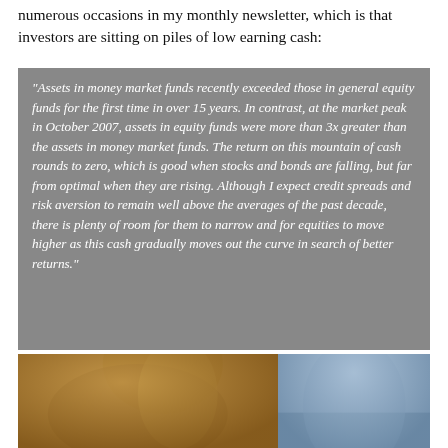numerous occasions in my monthly newsletter, which is that investors are sitting on piles of low earning cash:
"Assets in money market funds recently exceeded those in general equity funds for the first time in over 15 years. In contrast, at the market peak in October 2007, assets in equity funds were more than 3x greater than the assets in money market funds. The return on this mountain of cash rounds to zero, which is good when stocks and bonds are falling, but far from optimal when they are rising. Although I expect credit spreads and risk aversion to remain well above the averages of the past decade, there is plenty of room for them to narrow and for equities to move higher as this cash gradually moves out the curve in search of better returns."
[Figure (photo): Partial photograph of a person, split across two sections — left section shows warm golden/brown tones (person's face/shoulder area), right section shows a cooler blue/grey outdoor background.]